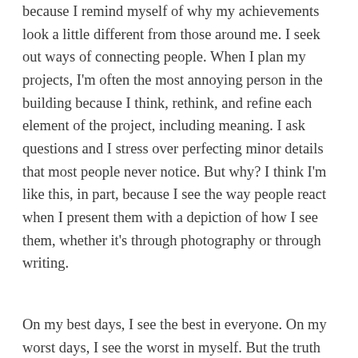because I remind myself of why my achievements look a little different from those around me. I seek out ways of connecting people. When I plan my projects, I'm often the most annoying person in the building because I think, rethink, and refine each element of the project, including meaning. I ask questions and I stress over perfecting minor details that most people never notice. But why? I think I'm like this, in part, because I see the way people react when I present them with a depiction of how I see them, whether it's through photography or through writing.
On my best days, I see the best in everyone. On my worst days, I see the worst in myself. But the truth is, the moment I doubt myself, and vocalize it, I'm surprised by the reassurance I receive each time. It's happened